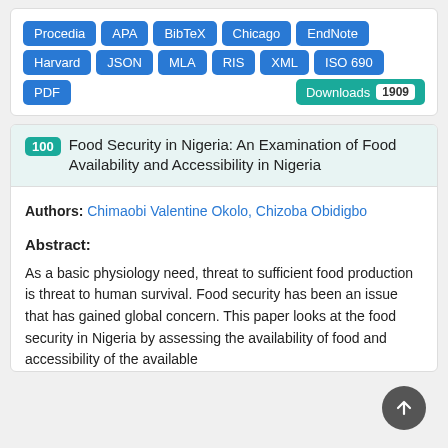Procedia | APA | BibTeX | Chicago | EndNote | Harvard | JSON | MLA | RIS | XML | ISO 690 | PDF | Downloads 1909
100 Food Security in Nigeria: An Examination of Food Availability and Accessibility in Nigeria
Authors: Chimaobi Valentine Okolo, Chizoba Obidigbo
Abstract:
As a basic physiology need, threat to sufficient food production is threat to human survival. Food security has been an issue that has gained global concern. This paper looks at the food security in Nigeria by assessing the availability of food and accessibility of the available